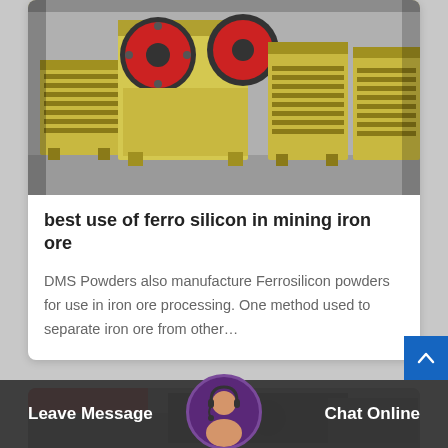[Figure (photo): Industrial jaw crusher machines (yellow/gold colored) lined up in a factory/warehouse setting. Multiple large crushing units with red flywheels visible.]
best use of ferro silicon in mining iron ore
DMS Powders also manufacture Ferrosilicon powders for use in iron ore processing. One method used to separate iron ore from other…
[Figure (photo): Partially visible industrial machinery photo at the bottom of the page.]
Leave Message
Chat Online